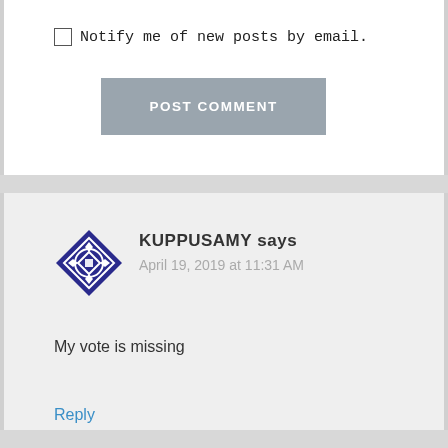Notify me of new posts by email.
POST COMMENT
KUPPUSAMY says
April 19, 2019 at 11:31 AM
My vote is missing
Reply
[Figure (logo): Dark blue geometric avatar/logo icon with diamond and circular pattern for user KUPPUSAMY]